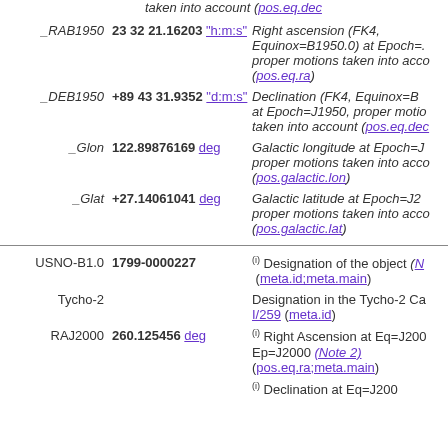taken into account (pos.eq.dec)
_RAB1950 23 32 21.16203 "h:m:s" Right ascension (FK4, Equinox=B1950.0) at Epoch=..., proper motions taken into account (pos.eq.ra)
_DEB1950 +89 43 31.9352 "d:m:s" Declination (FK4, Equinox=B1950...) at Epoch=J1950, proper motions taken into account (pos.eq.dec)
_Glon 122.89876169 deg Galactic longitude at Epoch=J..., proper motions taken into account (pos.galactic.lon)
_Glat +27.14061041 deg Galactic latitude at Epoch=J2..., proper motions taken into account (pos.galactic.lat)
USNO-B1.0 1799-0000227 (i) Designation of the object (N...) (meta.id;meta.main)
Tycho-2 Designation in the Tycho-2 Cat... I/259 (meta.id)
RAJ2000 260.125456 deg (i) Right Ascension at Eq=J2000, Ep=J2000 (Note 2) (pos.eq.ra;meta.main)